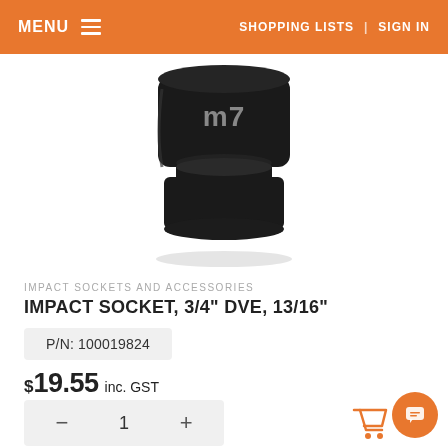MENU   SHOPPING LISTS | SIGN IN
[Figure (photo): Black M7 impact socket on white background, cylindrical shape with stepped neck and m7 logo on top]
IMPACT SOCKETS AND ACCESSORIES
IMPACT SOCKET, 3/4" DVE, 13/16"
P/N: 100019824
$19.55 inc. GST
− 1 +